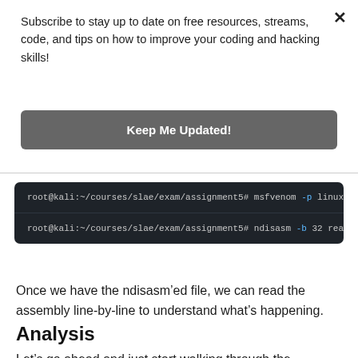Subscribe to stay up to date on free resources, streams, code, and tips on how to improve your coding and hacking skills!
Keep Me Updated!
root@kali:~/courses/slae/exam/assignment5# msfvenom -p linux/x86/
root@kali:~/courses/slae/exam/assignment5# ndisasm -b 32 read_fil
Once we have the ndisasm'ed file, we can read the assembly line-by-line to understand what's happening.
Analysis
Let's go ahead and just start walking through the shellcode generated by ndisasm. I'll write comments to explain what